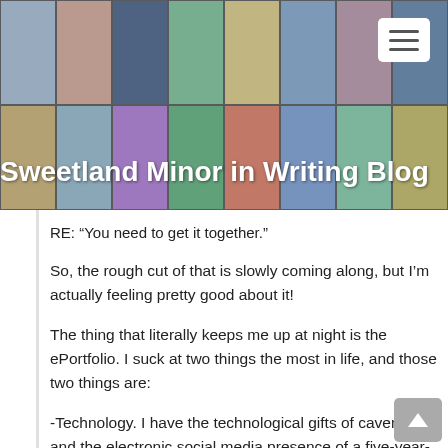[Figure (photo): Blog header banner — mosaic/collage of multiple small photos forming a banner background with a hamburger menu button in the top right corner]
Sweetland Minor in Writing Blog
RE: “You need to get it together.”
So, the rough cut of that is slowly coming along, but I’m actually feeling pretty good about it!
The thing that literally keeps me up at night is the ePortfolio. I suck at two things the most in life, and those two things are:
-Technology. I have the technological gifts of cavemen and the electronic social media presence of a five-year-old hyped up on candy corn and mountain dew. Any professional post I try to make oozes sarcasm, a little at least. And every coarsely-worded, actually sarcastic